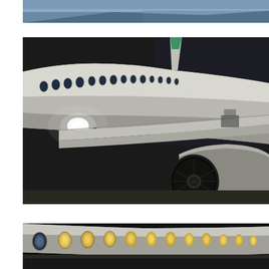[Figure (photo): Partial view of top photo showing aircraft exterior, cropped at top of page]
[Figure (photo): Alitalia aircraft photographed at night on airport tarmac, showing fuselage with 'italia' text, row of oval windows, wing, jet engine in foreground right, airport lights in background]
[Figure (photo): Partial view of bottom photo showing illuminated aircraft windows at night, cropped at bottom of page]